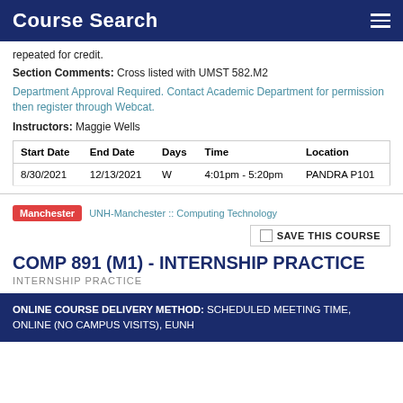Course Search
repeated for credit.
Section Comments: Cross listed with UMST 582.M2
Department Approval Required. Contact Academic Department for permission then register through Webcat.
Instructors: Maggie Wells
| Start Date | End Date | Days | Time | Location |
| --- | --- | --- | --- | --- |
| 8/30/2021 | 12/13/2021 | W | 4:01pm - 5:20pm | PANDRA P101 |
Manchester  UNH-Manchester :: Computing Technology
SAVE THIS COURSE
COMP 891 (M1) - INTERNSHIP PRACTICE
INTERNSHIP PRACTICE
ONLINE COURSE DELIVERY METHOD: SCHEDULED MEETING TIME, ONLINE (NO CAMPUS VISITS), EUNH